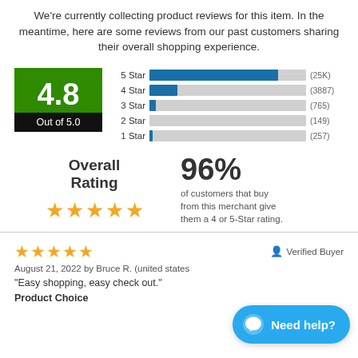We're currently collecting product reviews for this item. In the meantime, here are some reviews from our past customers sharing their overall shopping experience.
[Figure (bar-chart): Star Ratings]
Overall Rating
96% of customers that buy from this merchant give them a 4 or 5-Star rating.
August 21, 2022 by Bruce R. (united states
"Easy shopping, easy check out."
Product Choice